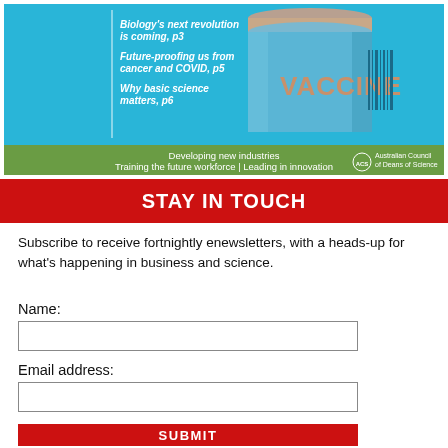[Figure (illustration): Magazine cover or newsletter banner showing a vaccine vial on a light blue background with text: 'Biology's next revolution is coming, p3', 'Future-proofing us from cancer and COVID, p5', 'Why basic science matters, p6'. Green banner at bottom reads: 'Developing new industries | Training the future workforce | Leading in innovation' with Australian Council of Deans of Science logo. Large 'VACCINE' text on the vial.]
STAY IN TOUCH
Subscribe to receive fortnightly enewsletters, with a heads-up for what's happening in business and science.
Name:
Email address:
SUBMIT